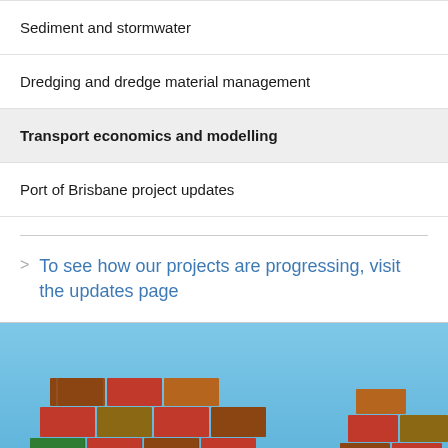Sediment and stormwater
Dredging and dredge material management
Transport economics and modelling
Port of Brisbane project updates
To see how our projects are progressing, visit the updates page
[Figure (photo): Shipping containers stacked at a port against a blue sky background]